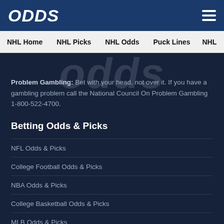ODDS
NHL Home  NHL Picks  NHL Odds  Puck Lines  NHL
Problem Gambling: Bet with your head, not over it. If you have a gambling problem call the National Council On Problem Gambling 1-800-522-4700.
Betting Odds & Picks
NFL Odds & Picks
College Football Odds & Picks
NBA Odds & Picks
College Basketball Odds & Picks
MLB Odds & Picks